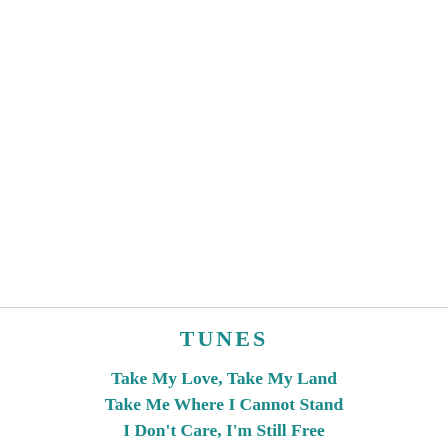[Figure (other): Blank white upper section of page, separated by a thin horizontal rule]
TUNES
Take My Love, Take My Land
Take Me Where I Cannot Stand
I Don't Care, I'm Still Free
You Can't Take The Sky From Me
Take Me Out To The Black